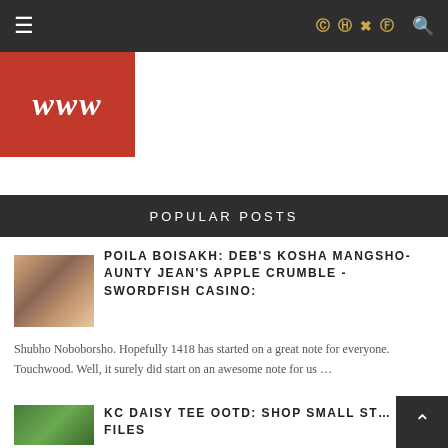≡ [social icons: Pinterest, Flickr, Twitter, Facebook] 🔍
[Figure (logo): Red square logo with italic bold white text 'www']
POPULAR POSTS
[Figure (photo): Photo of plated food dishes, likely Indian cuisine]
POILA BOISAKH: DEB'S KOSHA MANGSHO- AUNTY JEAN'S APPLE CRUMBLE - SWORDFISH CASINO:
Shubho Noboborsho. Hopefully 1418 has started on a great note for everyone. Touchwood. Well, it surely did start on an awesome note for us ...
[Figure (photo): Photo of person outdoors among green foliage/trees]
KC DAISY TEE OOTD: SHOP SMALL ST… FILES